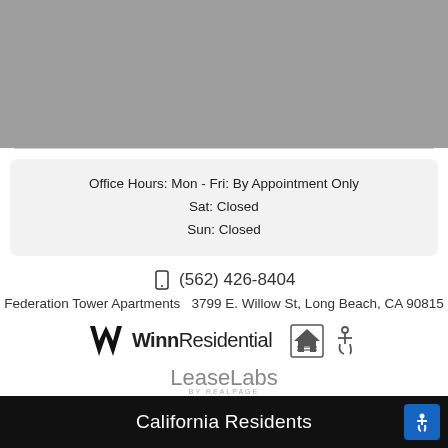[Figure (other): Gray header image area]
Office Hours: Mon - Fri: By Appointment Only
Sat: Closed
Sun: Closed
(562) 426-8404
Federation Tower Apartments  3799 E. Willow St, Long Beach, CA 90815
[Figure (logo): WinnResidential logo with stylized W and text]
[Figure (logo): Equal Housing Opportunity and accessibility icons]
[Figure (logo): LeaseLabs by RealPage logo]
Privacy | Sitemap | Terms of Use
California Residents